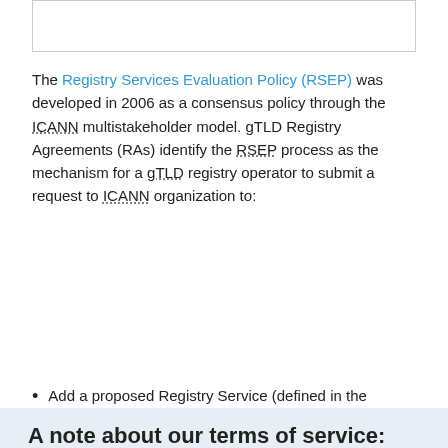[Figure (other): Top image placeholder box (empty/partial image area)]
The Registry Services Evaluation Policy (RSEP) was developed in 2006 as a consensus policy through the ICANN multistakeholder model. gTLD Registry Agreements (RAs) identify the RSEP process as the mechanism for a gTLD registry operator to submit a request to ICANN organization to:
Add a proposed Registry Service (defined in the
A note about our terms of service:
We have updated our electronic terms of service to provide greater transparency and align with laws applicable to us. Learn more.
This site uses cookies to deliver an efficient user experience and to help us see how the site is used. Learn more.  ✕ OK